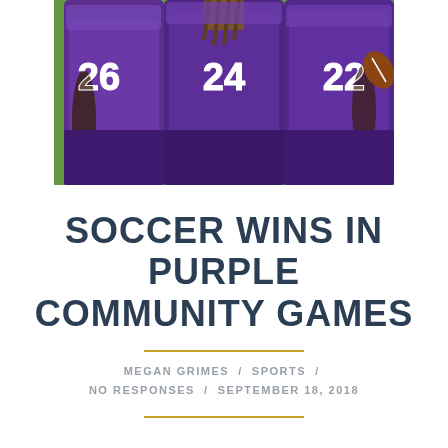[Figure (photo): Football players in purple jerseys with numbers 26, 24, and 22, photographed from behind/side angle on a field.]
SOCCER WINS IN PURPLE COMMUNITY GAMES
MEGAN GRIMES / SPORTS / NO RESPONSES / SEPTEMBER 18, 2018